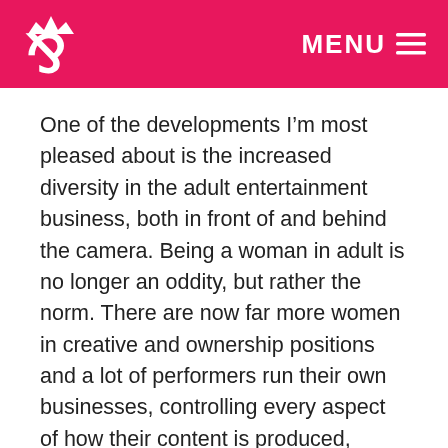MENU
One of the developments I’m most pleased about is the increased diversity in the adult entertainment business, both in front of and behind the camera. Being a woman in adult is no longer an oddity, but rather the norm. There are now far more women in creative and ownership positions and a lot of performers run their own businesses, controlling every aspect of how their content is produced, packaged, and presented. That’s a huge improvement over where the industry was back in the 90s.
Sherri: There are still people who will hear the